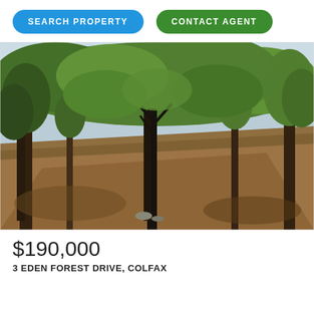SEARCH PROPERTY
CONTACT AGENT
[Figure (photo): Wooded property lot on a hillside with trees, dry ground cover, and a small grassy clearing in the center. Sunlit forest scene.]
$190,000
3 EDEN FOREST DRIVE, COLFAX